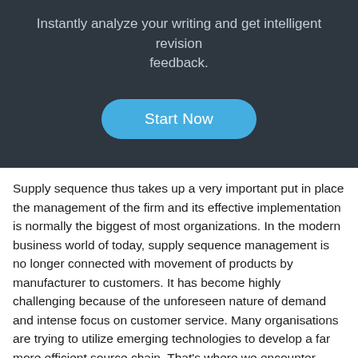[Figure (screenshot): Dark-background UI panel with tagline text 'Instantly analyze your writing and get intelligent revision feedback.' and a blue rounded 'Start Now' button centered on the panel.]
Supply sequence thus takes up a very important put in place the management of the firm and its effective implementation is normally the biggest of most organizations. In the modern business world of today, supply sequence management is no longer connected with movement of products by manufacturer to customers. It has become highly challenging because of the unforeseen nature of demand and intense focus on customer service. Many organisations are trying to utilize emerging technologies to develop a far more efficient source chain. That's where we encounter fresh management methods, some of which focus on certain parts of the supply chain and not the entire chain.